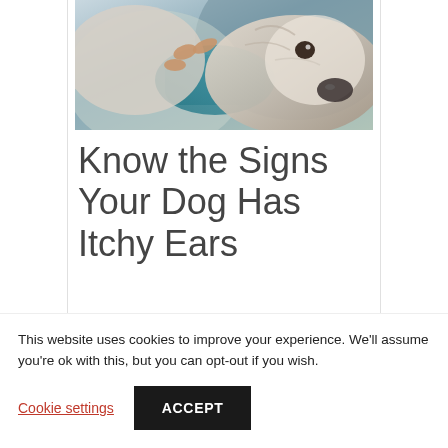[Figure (photo): Close-up photo of a dog's ear being examined or cleaned by human hands, with the dog's face and nose visible]
Know the Signs Your Dog Has Itchy Ears
This website uses cookies to improve your experience. We'll assume you're ok with this, but you can opt-out if you wish.
Cookie settings    ACCEPT